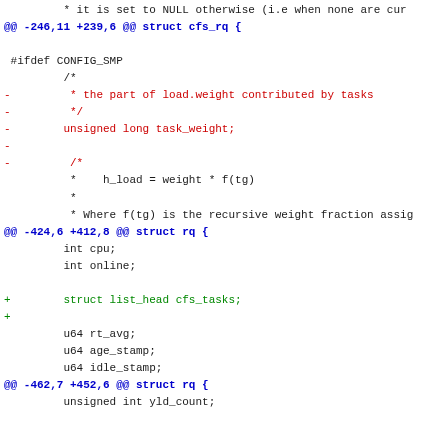* it is set to NULL otherwise (i.e when none are cur
@@ -246,11 +239,6 @@ struct cfs_rq {
#ifdef CONFIG_SMP
         /*
-         * the part of load.weight contributed by tasks
-         */
-        unsigned long task_weight;
-
-         /*
          *    h_load = weight * f(tg)
          *
          * Where f(tg) is the recursive weight fraction assig
@@ -424,6 +412,8 @@ struct rq {
int cpu;
        int online;

+        struct list_head cfs_tasks;
+
        u64 rt_avg;
        u64 age_stamp;
        u64 idle_stamp;
@@ -462,7 +452,6 @@ struct rq {
unsigned int yld_count;